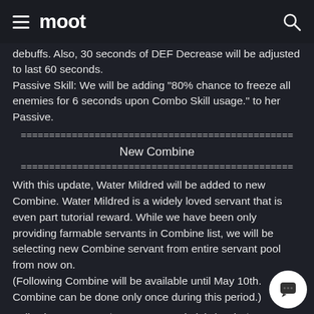moot
debuffs. Also, 30 seconds of DEF Decrease will be adjusted to last 60 seconds.
Passive Skill: We will be adding "80% chance to freeze all enemies for 6 seconds upon Combo Skill usage." to her Passive.
New Combine
With this update, Water Mildred will be added to new Combine. Water Mildred is a widely loved servant that is even part tutorial reward. While we have been only providing farmable servants in Combine list, we will be selecting new Combine servant from entire servant pool from now on.
(Following Combine will be available until May 10th. Combine can be done only once during this period.)
Following servants ★4 servants and Light/Dark ★3 servants are needed to Combine Water Mildred.